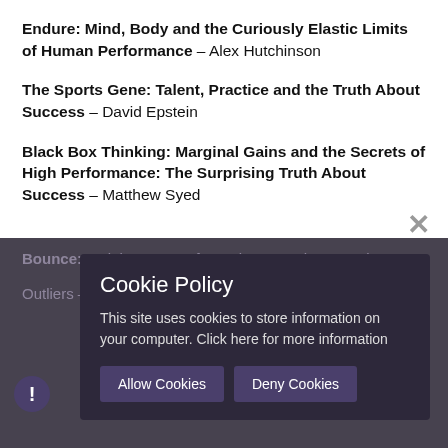Endure: Mind, Body and the Curiously Elastic Limits of Human Performance – Alex Hutchinson
The Sports Gene: Talent, Practice and the Truth About Success – David Epstein
Black Box Thinking: Marginal Gains and the Secrets of High Performance: The Surprising Truth About Success – Matthew Syed
Bounce: and the Power of Practice – Matthew Syed
Outliers – Malcolm Gladwell
Cookie Policy
This site uses cookies to store information on your computer. Click here for more information
Allow Cookies  Deny Cookies